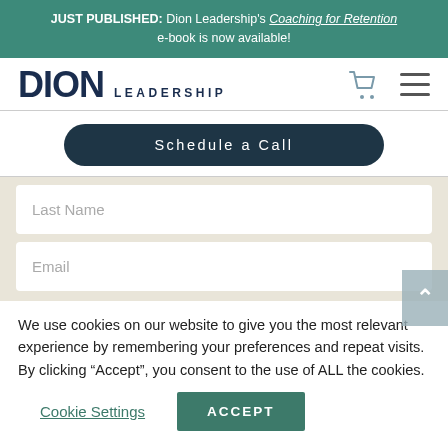JUST PUBLISHED: Dion Leadership's Coaching for Retention e-book is now available!
[Figure (logo): Dion Leadership logo with cart and hamburger menu icons]
Schedule a Call
Last Name
Email
We use cookies on our website to give you the most relevant experience by remembering your preferences and repeat visits. By clicking “Accept”, you consent to the use of ALL the cookies.
Cookie Settings
ACCEPT